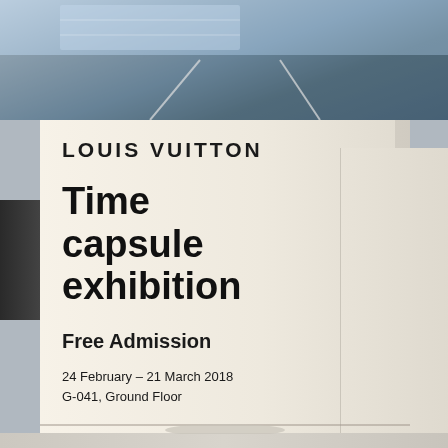[Figure (photo): Photograph of two Louis Vuitton Time Capsule Exhibition signage stands displayed in what appears to be a shopping mall. The front sign reads: LOUIS VUITTON / Time capsule exhibition / Free Admission / 24 February – 21 March 2018 / G-041, Ground Floor. A second sign is partially visible behind. The top of the image shows an outdoor scene through glass (parking area/road).]
LOUIS VUITTON
Time capsule exhibition
Free Admission
24 February – 21 March 2018
G-041, Ground Floor